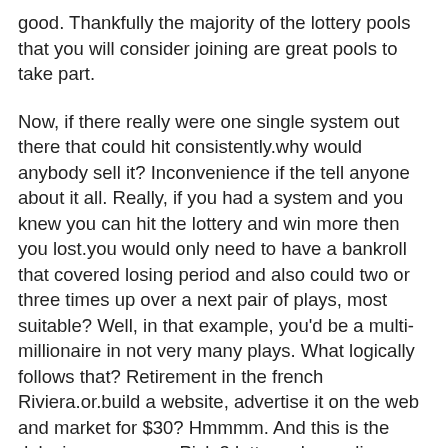good. Thankfully the majority of the lottery pools that you will consider joining are great pools to take part.
Now, if there really were one single system out there that could hit consistently.why would anybody sell it? Inconvenience if the tell anyone about it all. Really, if you had a system and you knew you can hit the lottery and win more then you lost.you would only need to have a bankroll that covered losing period and also could two or three times up over a next pair of plays, most suitable? Well, in that example, you'd be a multi-millionaire in not very many plays. What logically follows that? Retirement in the french Riviera.or.build a website, advertise it on the web and market for $30? Hmmmm. And this is the delusion numerous Pick 3 lottery players live